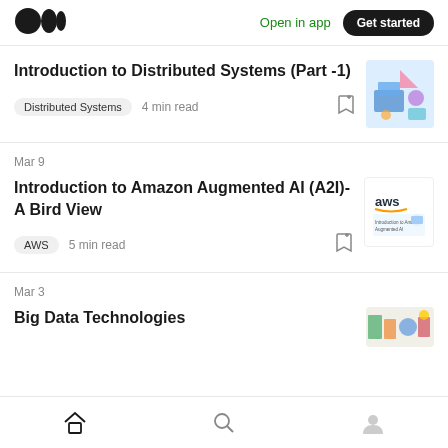[Figure (logo): Medium logo — three black circles]
Open in app
Get started
Introduction to Distributed Systems (Part -1)
[Figure (illustration): Isometric tech illustration with person at computer and floating UI elements]
Distributed Systems   4 min read
Mar 9
Introduction to Amazon Augmented AI (A2I)- A Bird View
[Figure (logo): AWS logo and Introduction to Amazon Augmented AI thumbnail]
AWS   5 min read
Mar 3
Big Data Technologies